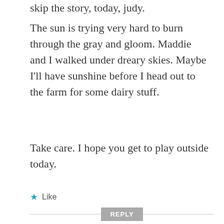skip the story, today, judy.
The sun is trying very hard to burn through the gray and gloom. Maddie and I walked under dreary skies. Maybe I'll have sunshine before I head out to the farm for some dairy stuff.
Take care. I hope you get to play outside today.
★ Like
REPLY